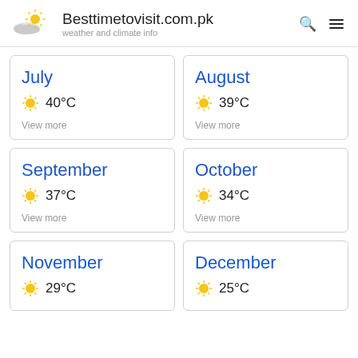Besttimetovisit.com.pk — weather and climate info
July
40°C
View more
August
39°C
View more
September
37°C
View more
October
34°C
View more
November
29°C
View more
December
25°C
View more